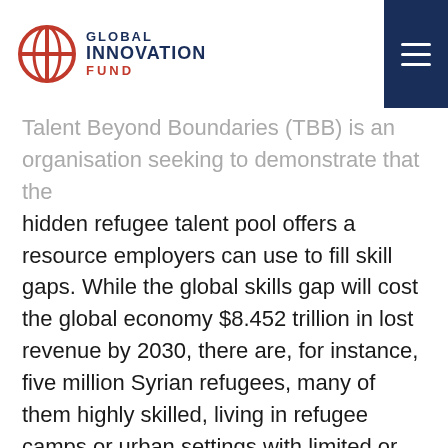GLOBAL INNOVATION FUND
Talent Beyond Boundaries (TBB) is an organisation seeking to demonstrate that the hidden refugee talent pool offers a resource employers can use to fill skill gaps. While the global skills gap will cost the global economy $8.452 trillion in lost revenue by 2030, there are, for instance, five million Syrian refugees, many of them highly skilled, living in refugee camps or urban settings with limited or no prospects of local employment. Shortages are especially acute in industries experiencing rapid growth or change and in rural communities that need industries to keep local industries afloat.
TBB provides an alternative solution by increasing access to existing labour mobility pathways and creating new pathways for